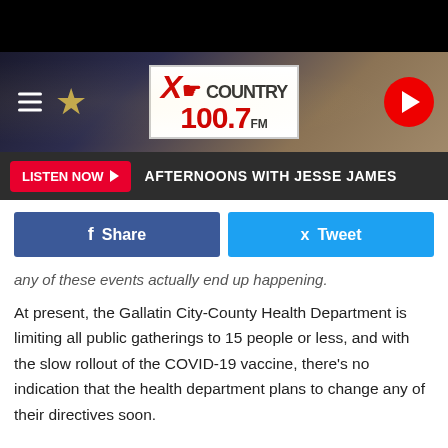[Figure (screenshot): Black top bar]
[Figure (logo): XO Country 100.7 FM radio station banner header with hamburger menu, star decoration, logo, and red play button]
LISTEN NOW ▶  AFTERNOONS WITH JESSE JAMES
[Figure (infographic): Social sharing buttons: Facebook Share and Twitter Tweet]
any of these events actually end up happening.
At present, the Gallatin City-County Health Department is limiting all public gatherings to 15 people or less, and with the slow rollout of the COVID-19 vaccine, there's no indication that the health department plans to change any of their directives soon.
COVID-19 numbers in Gallatin County have been dropping since they peaked in mid-November, and currently we're